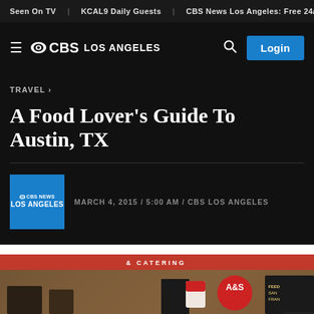Seen On TV | KCAL9 Daily Guests | CBS News Los Angeles: Free 24/7 N
CBS LOS ANGELES  [Login]
TRAVEL ›
A Food Lover's Guide To Austin, TX
MARCH 4, 2015 / 5:00 AM / CBS LOS ANGELES
[Figure (photo): CBS News Los Angeles logo in blue square]